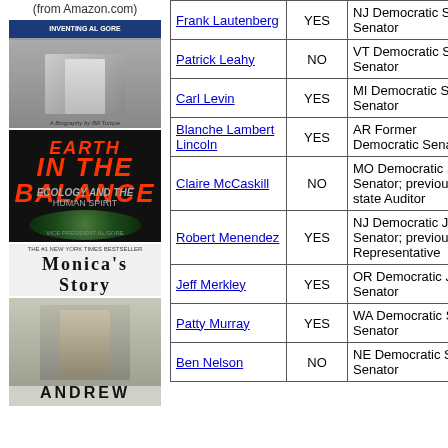(from Amazon.com)
[Figure (photo): Book cover: Inventing Al Gore by Bill Turque]
[Figure (photo): Book cover: Earth in the Balance - Ecology and the Human Spirit by Al Gore]
[Figure (photo): Book cover: Monica's Story]
[Figure (photo): Book cover: Andrew (partial)]
| Name | Vote | Role |
| --- | --- | --- |
| Frank Lautenberg | YES | NJ Democratic Sr Senator |
| Patrick Leahy | NO | VT Democratic Sr Senator |
| Carl Levin | YES | MI Democratic Sr Senator |
| Blanche Lambert Lincoln | YES | AR Former Democratic Senator |
| Claire McCaskill | NO | MO Democratic Sr Senator; previously state Auditor |
| Robert Menendez | YES | NJ Democratic Jr Senator; previously Representative |
| Jeff Merkley | YES | OR Democratic Jr Senator |
| Patty Murray | YES | WA Democratic Sr Senator |
| Ben Nelson | NO | NE Democratic Sr Senator |